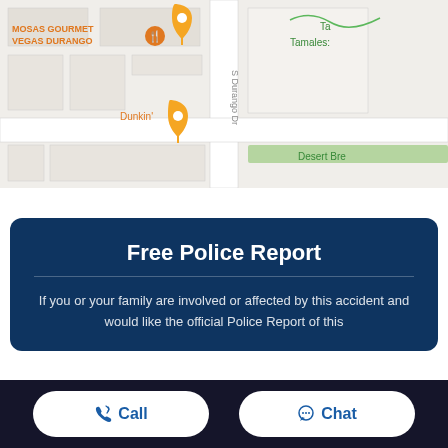[Figure (map): Street map showing S Durango Dr area with pins for MOSAS GOURMET VEGAS DURANGO and Dunkin', and labels for Tamales and Desert Bre(ze)]
Free Police Report
If you or your family are involved or affected by this accident and would like the official Police Report of this
Call
Chat